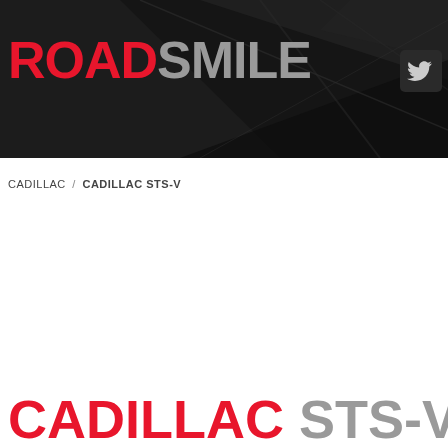[Figure (logo): RoadSmile website header banner with dark angular background design. Logo text 'ROAD' in red and 'SMILE' in gray, large bold uppercase. Twitter bird icon in top right corner.]
CADILLAC / CADILLAC STS-V
CADILLAC STS-V